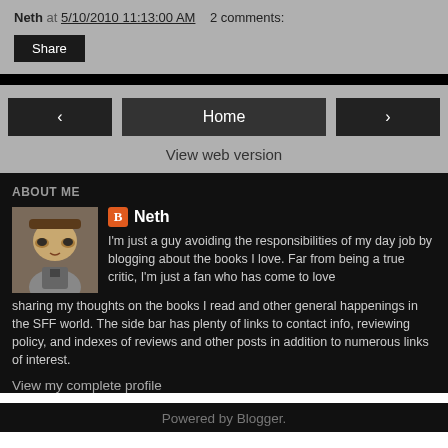Neth at 5/10/2010 11:13:00 AM  2 comments:
Share
< Home >
View web version
ABOUT ME
Neth
I'm just a guy avoiding the responsibilities of my day job by blogging about the books I love. Far from being a true critic, I'm just a fan who has come to love sharing my thoughts on the books I read and other general happenings in the SFF world. The side bar has plenty of links to contact info, reviewing policy, and indexes of reviews and other posts in addition to numerous links of interest.
View my complete profile
Powered by Blogger.